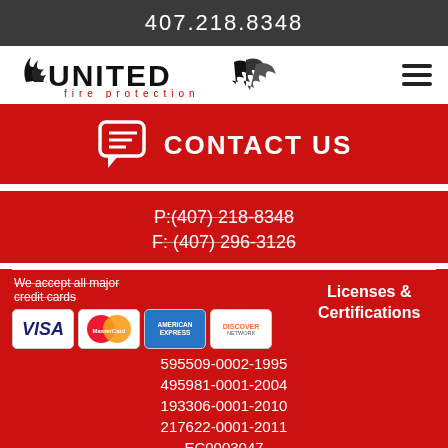407.218.8348
[Figure (logo): United Fire Protection logo with flame graphics and text 'fire protection' below]
CONTACT US
P:(407) 218-8348
F: (407) 296-3126
We accept all major credit cards
[Figure (illustration): Credit card logos: Visa, MasterCard, American Express, Discover]
Licenses & Certifications
595509-0002-1995
495981-0001-2004
193306-0001-2010
217622-0001-2011
EC0003047